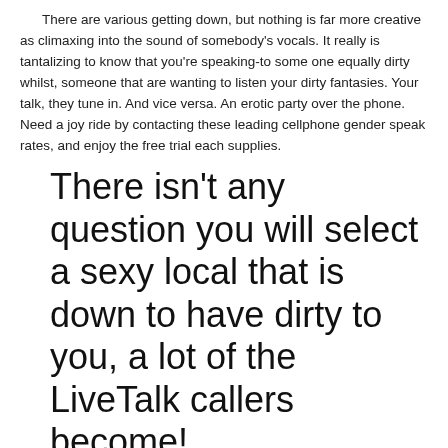There are various getting down, but nothing is far more creative as climaxing into the sound of somebody's vocals. It really is tantalizing to know that you're speaking-to some one equally dirty whilst, someone that are wanting to listen your dirty fantasies. Your talk, they tune in. And vice versa. An erotic party over the phone. Need a joy ride by contacting these leading cellphone gender speak rates, and enjoy the free trial each supplies.
There isn't any question you will select a sexy local that is down to have dirty to you, a lot of the LiveTalk callers become!
LiveLinks a€" 1-800-444-0000 (free trial offer: 60 moments)